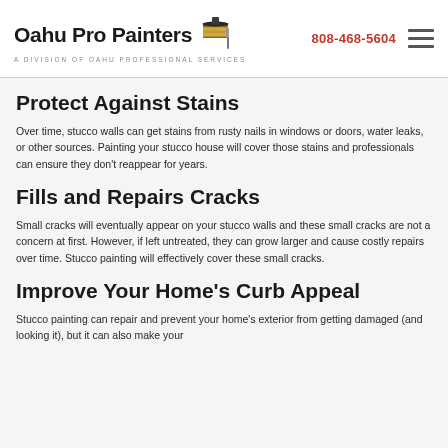Oahu Pro Painters | A Division of Oahu Professional Services | 808-468-5604
Protect Against Stains
Over time, stucco walls can get stains from rusty nails in windows or doors, water leaks, or other sources. Painting your stucco house will cover those stains and professionals can ensure they don't reappear for years.
Fills and Repairs Cracks
Small cracks will eventually appear on your stucco walls and these small cracks are not a concern at first. However, if left untreated, they can grow larger and cause costly repairs over time. Stucco painting will effectively cover these small cracks.
Improve Your Home's Curb Appeal
Stucco painting can repair and prevent your home's exterior from getting damaged (and looking it), but it can also make your